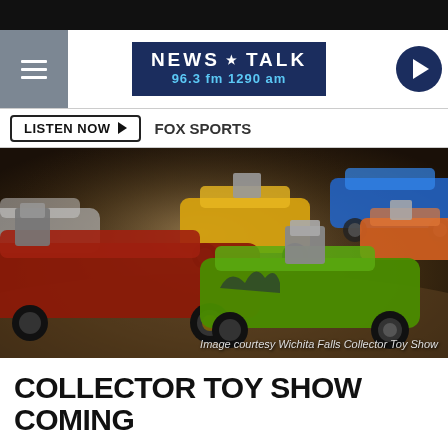NEWS TALK 96.3 fm 1290 am
LISTEN NOW ▶  FOX SPORTS
[Figure (photo): Close-up photograph of multiple Hot Wheels die-cast toy cars in various colors including red, green, yellow, blue, and orange, arranged on a table surface. Image courtesy Wichita Falls Collector Toy Show.]
Image courtesy Wichita Falls Collector Toy Show
COLLECTOR TOY SHOW COMING